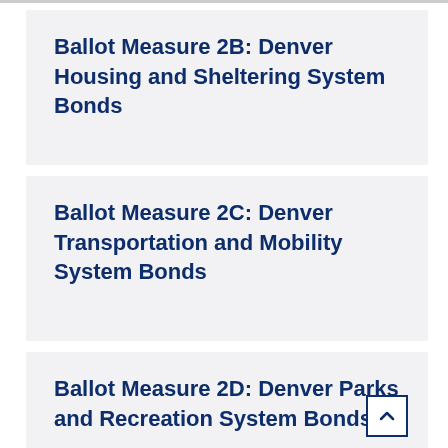Ballot Measure 2B: Denver Housing and Sheltering System Bonds
Ballot Measure 2C: Denver Transportation and Mobility System Bonds
Ballot Measure 2D: Denver Parks and Recreation System Bonds